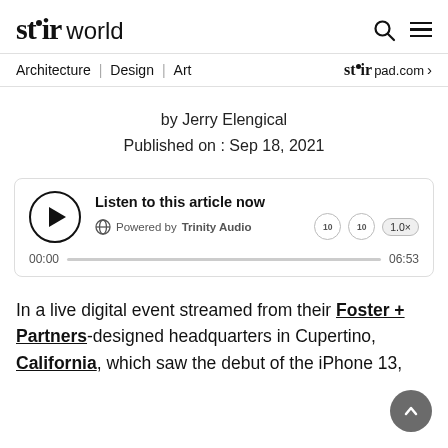stir world
Architecture | Design | Art   stir pad.com
by Jerry Elengical
Published on : Sep 18, 2021
[Figure (other): Audio player widget with play button, Trinity Audio branding, progress bar showing 00:00 to 06:53, playback speed 1.0x, and skip controls]
In a live digital event streamed from their Foster + Partners-designed headquarters in Cupertino, California, which saw the debut of the iPhone 13,